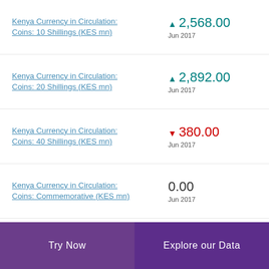Kenya Currency in Circulation: Coins: 10 Shillings (KES mn) ▲ 2,568.00 Jun 2017
Kenya Currency in Circulation: Coins: 20 Shillings (KES mn) ▲ 2,892.00 Jun 2017
Kenya Currency in Circulation: Coins: 40 Shillings (KES mn) ▼ 380.00 Jun 2017
Kenya Currency in Circulation: Coins: Commemorative (KES mn) 0.00 Jun 2017
Try Now | Explore our Data